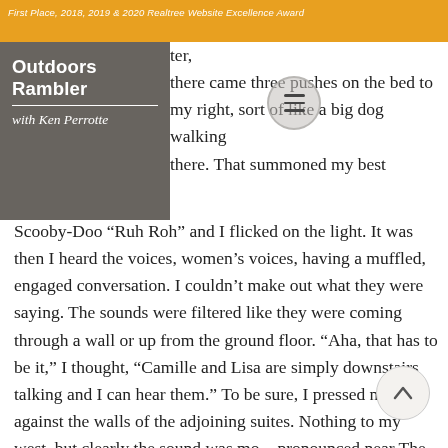First Place, 2018, 2019 & 2020 Realtree Website Excellence Award
Outdoors Rambler with Ken Perrotte
ter, there came three pushes on the bed to my right, sort of like a big dog walking there. That summoned my best Scooby-Doo “Ruh Roh” and I flicked on the light. It was then I heard the voices, women’s voices, having a muffled, engaged conversation. I couldn’t make out what they were saying. The sounds were filtered like they were coming through a wall or up from the ground floor. “Aha, that has to be it,” I thought, “Camille and Lisa are simply downstairs talking and I can hear them.” To be sure, I pressed my ear against the walls of the adjoining suites. Nothing to my west, but clearly the sound was more pronounced near The Matriarch Su… which was unoccupied. The living room